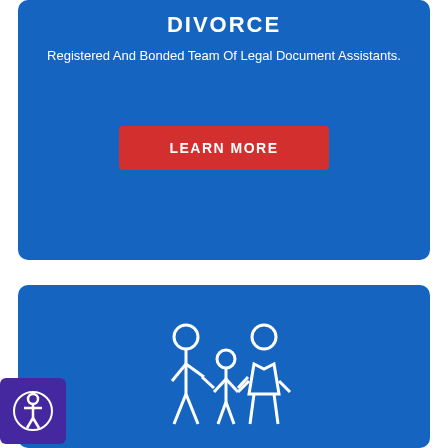DIVORCE
Registered And Bonded Team Of Legal Document Assistants.
LEARN MORE
[Figure (illustration): White outline icon of a family: adult male, child, and adult female holding hands]
CUSTODY
[Figure (illustration): Accessibility button with person icon in purple square, bottom-left corner]